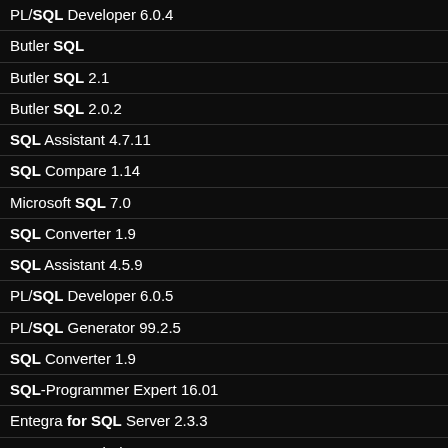PL/SQL Developer 6.0.4
Butler SQL
Butler SQL 2.1
Butler SQL 2.0.2
SQL Assistant 4.7.11
SQL Compare 1.14
Microsoft SQL 7.0
SQL Converter 1.9
SQL Assistant 4.5.9
PL/SQL Developer 6.0.5
PL/SQL Generator 99.2.5
SQL Converter 1.9
SQL-Programmer Expert 16.01
Entegra for SQL Server 2.3.3
SQL Server Find 3.1
Sql Station Suite 3.3.2
quickbook 7.4
findserialnumber.net © 2022 Find Serial Number | Report Abuse
We find any serial number for any software.